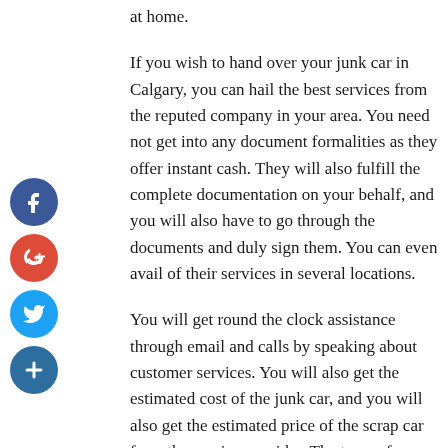at home.
If you wish to hand over your junk car in Calgary, you can hail the best services from the reputed company in your area. You need not get into any document formalities as they offer instant cash. They will also fulfill the complete documentation on your behalf, and you will also have to go through the documents and duly sign them. You can even avail of their services in several locations.
You will get round the clock assistance through email and calls by speaking about customer services. You will also get the estimated cost of the junk car, and you will also get the estimated price of the scrap car from the service provider. The team of professionals is right there to offer you the best assistance.